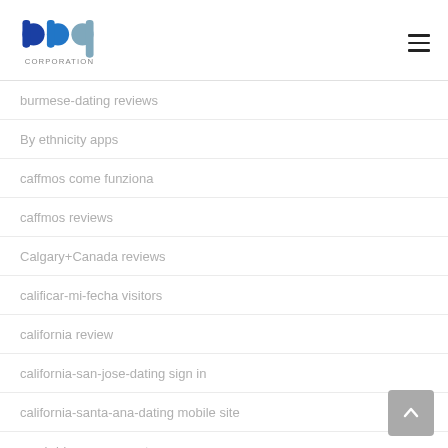[Figure (logo): BBP Corporation logo with colorful letter marks and 'CORPORATION' text below]
burmese-dating reviews
By ethnicity apps
caffmos come funziona
caffmos reviews
Calgary+Canada reviews
calificar-mi-fecha visitors
california review
california-san-jose-dating sign in
california-santa-ana-dating mobile site
cambridge eros escort